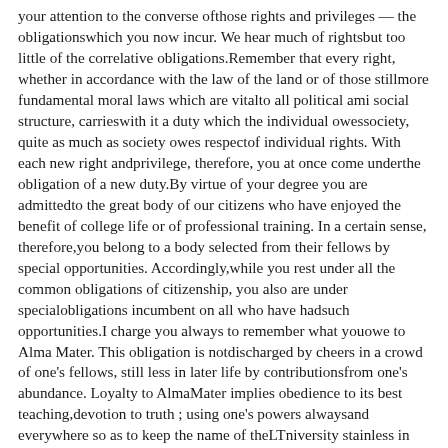your attention to the converse ofthose rights and privileges — the obligationswhich you now incur. We hear much of rightsbut too little of the correlative obligations.Remember that every right, whether in accordance with the law of the land or of those stillmore fundamental moral laws which are vitalto all political ami social structure, carrieswith it a duty which the individual owessociety, quite as much as society owes respectof individual rights. With each new right andprivilege, therefore, you at once come underthe obligation of a new duty.By virtue of your degree you are admittedto the great body of our citizens who have enjoyed the benefit of college life or of professional training. In a certain sense, therefore,you belong to a body selected from their fellows by special opportunities. Accordingly,while you rest under all the common obligations of citizenship, you also are under specialobligations incumbent on all who have hadsuch opportunities.I charge you always to remember what youowe to Alma Mater. This obligation is notdischarged by cheers in a crowd of one's fellows, still less in later life by contributionsfrom one's abundance. Loyalty to AlmaMater implies obedience to its best teaching,devotion to truth ; using one's powers alwaysand everywhere so as to keep the name of theLTniversity stainless in the lives of its sons andof its daughters.I charge you to remember that the safety ofour free Republic depends above all on thesacredness of the home, and that every graduate of our higher institutions of learningshould jealously guard his own life so as